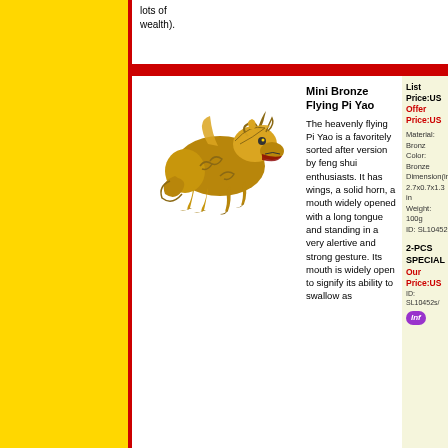lots of wealth).
[Figure (photo): Bronze Mini Flying Pi Yao figurine, golden colored, mythical creature with wings, horn, and open mouth, standing in alertive posture]
Mini Bronze Flying Pi Yao
The heavenly flying Pi Yao is a favoritely sorted after version by feng shui enthusiasts. It has wings, a solid horn, a mouth widely opened with a long tongue and standing in a very alertive and strong gesture. Its mouth is widely open to signify its ability to swallow as
List Price:US
Offer Price:US
Material: Bronze
Color: Bronze
Dimension(in): 2.7x0.7x1.3 in
Weight: 100g
ID: SL10452
2-PCS SPECIAL
Our Price:US
ID: SL10452s/